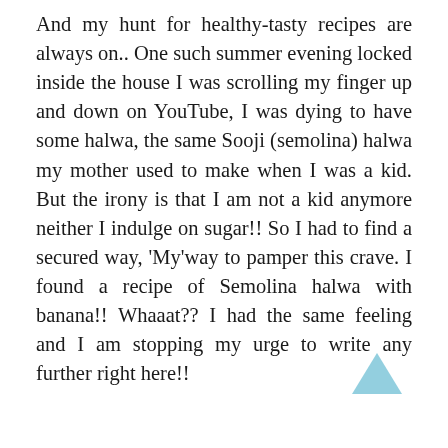And my hunt for healthy-tasty recipes are always on.. One such summer evening locked inside the house I was scrolling my finger up and down on YouTube, I was dying to have some halwa, the same Sooji (semolina) halwa my mother used to make when I was a kid. But the irony is that I am not a kid anymore neither I indulge on sugar!! So I had to find a secured way, 'My'way to pamper this crave. I found a recipe of Semolina halwa with banana!! Whaaat?? I had the same feeling and I am stopping my urge to write any further right here!!